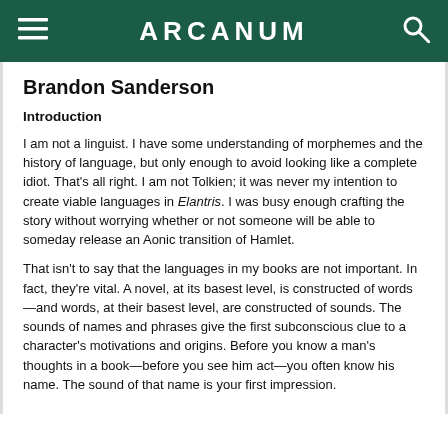ARCANUM
Brandon Sanderson
Introduction
I am not a linguist. I have some understanding of morphemes and the history of language, but only enough to avoid looking like a complete idiot. That's all right. I am not Tolkien; it was never my intention to create viable languages in Elantris. I was busy enough crafting the story without worrying whether or not someone will be able to someday release an Aonic transition of Hamlet.
That isn't to say that the languages in my books are not important. In fact, they're vital. A novel, at its basest level, is constructed of words—and words, at their basest level, are constructed of sounds. The sounds of names and phrases give the first subconscious clue to a character's motivations and origins. Before you know a man's thoughts in a book—before you see him act—you often know his name. The sound of that name is your first impression.